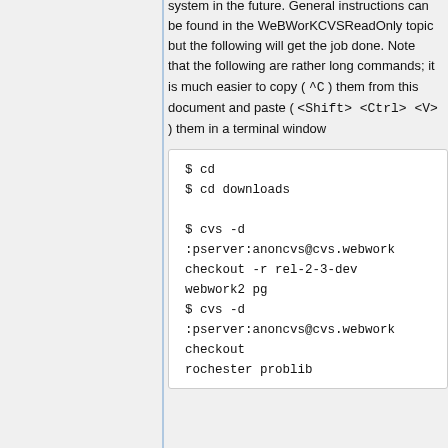system in the future. General instructions can be found in the WeBWorKCVSReadOnly topic but the following will get the job done. Note that the following are rather long commands; it is much easier to copy ( ^C ) them from this document and paste ( <Shift> <Ctrl> <V> ) them in a terminal window
$ cd
$ cd downloads

$ cvs -d :pserver:anoncvs@cvs.webwork checkout -r rel-2-3-dev webwork2 pg
$ cvs -d :pserver:anoncvs@cvs.webwork checkout rochester problib